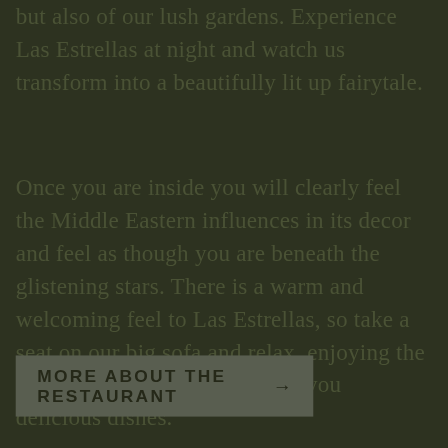but also of our lush gardens. Experience Las Estrellas at night and watch us transform into a beautifully lit up fairytale.
Once you are inside you will clearly feel the Middle Eastern influences in its decor and feel as though you are beneath the glistening stars. There is a warm and welcoming feel to Las Estrellas, so take a seat on our big sofa and relax, enjoying the evening while our staff serves you delicious dishes.
You can also enjoy our cusine on the deck or on the beach dining area with your feet in the sand!
MORE ABOUT THE RESTAURANT →